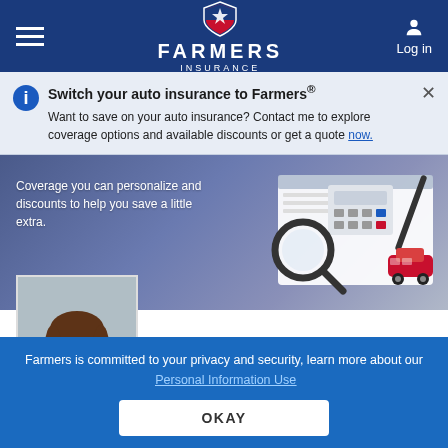[Figure (screenshot): Farmers Insurance mobile website header with hamburger menu, Farmers Insurance logo with shield, and Log in button]
Switch your auto insurance to Farmers®
Want to save on your auto insurance? Contact me to explore coverage options and available discounts or get a quote now.
[Figure (photo): Hero banner showing a notepad with calculator, magnifying glass, pen, and a small red toy car on a blue/purple background with text: Coverage you can personalize and discounts to help you save a little extra.]
[Figure (photo): Profile photo of Colleen Casey, a woman with brown hair and glasses wearing a gray blazer]
COLLEEN CASEY
Farmers is committed to your privacy and security, learn more about our Personal Information Use
OKAY